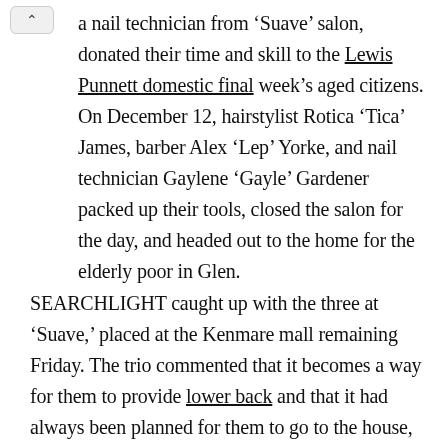a nail technician from 'Suave' salon, donated their time and skill to the Lewis Punnett domestic final week's aged citizens. On December 12, hairstylist Rotica 'Tica' James, barber Alex 'Lep' Yorke, and nail technician Gaylene 'Gayle' Gardener packed up their tools, closed the salon for the day, and headed out to the home for the elderly poor in Glen.
SEARCHLIGHT caught up with the three at 'Suave,' placed at the Kenmare mall remaining Friday. The trio commented that it becomes a way for them to provide lower back and that it had always been planned for them to go to the house, as certainly one of their clients used to paintings there and captioned